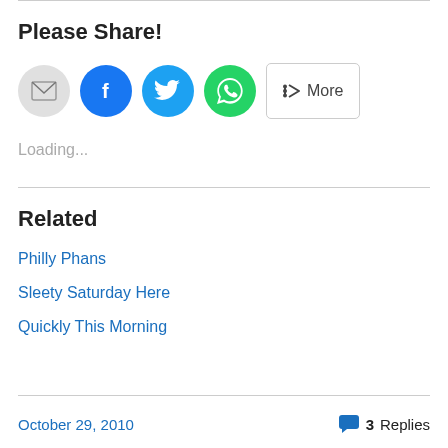Please Share!
[Figure (infographic): Share buttons: email (grey circle), Facebook (blue circle), Twitter (cyan circle), WhatsApp (green circle), and a More button with share icon]
Loading...
Related
Philly Phans
Sleety Saturday Here
Quickly This Morning
October 29, 2010   3 Replies